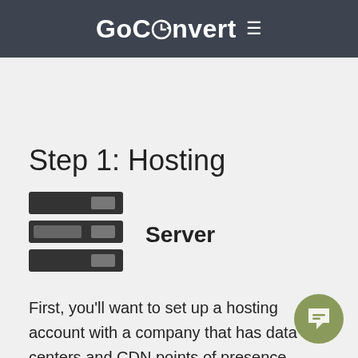GoConvert ≡
Step 1: Hosting
[Figure (illustration): Server rack icon with three horizontal dark bars and small light rectangles, representing a server]
Server
First, you'll want to set up a hosting account with a company that has data centers and CDN points of presence (PoP) in the British Antarctic Territory. Google search for "British Antarctic Territory web